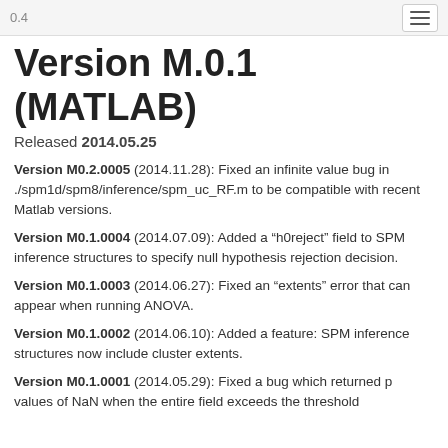0.4
Version M.0.1 (MATLAB)
Released 2014.05.25
Version M0.2.0005 (2014.11.28): Fixed an infinite value bug in ./spm1d/spm8/inference/spm_uc_RF.m to be compatible with recent Matlab versions.
Version M0.1.0004 (2014.07.09): Added a “h0reject” field to SPM inference structures to specify null hypothesis rejection decision.
Version M0.1.0003 (2014.06.27): Fixed an “extents” error that can appear when running ANOVA.
Version M0.1.0002 (2014.06.10): Added a feature: SPM inference structures now include cluster extents.
Version M0.1.0001 (2014.05.29): Fixed a bug which returned p values of NaN when the entire field exceeds the threshold